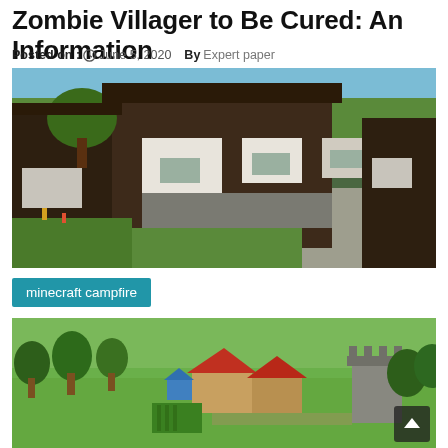Zombie Villager to Be Cured: An Information
Posted on : June 5, 2020   By Expert paper
[Figure (photo): Minecraft village scene showing wooden and stone buildings with white plaster sections and windows, green grass and trees visible.]
minecraft campfire
[Figure (photo): Aerial view of a Minecraft village with trees, red-roofed buildings, green fields and crops, and a castle-like structure.]